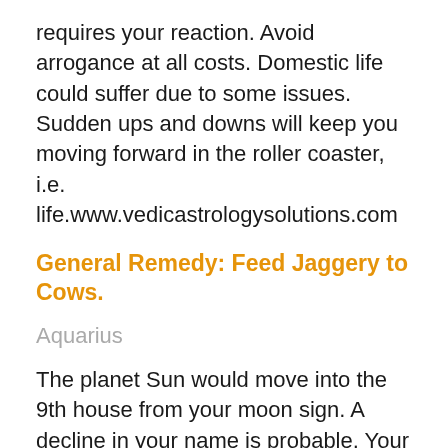requires your reaction. Avoid arrogance at all costs. Domestic life could suffer due to some issues. Sudden ups and downs will keep you moving forward in the roller coaster, i.e. life.www.vedicastrologysolutions.com
General Remedy: Feed Jaggery to Cows.
Aquarius
The planet Sun would move into the 9th house from your moon sign. A decline in your name is probable. Your glory would dwindle; this might trigger mental unhappiness. You could be stressed out in this period. Father's health would require your attention; you might have some misunderstandings with him. These ideological differences, if not